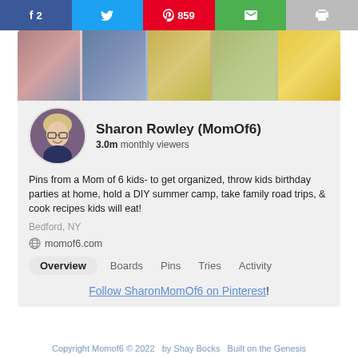[Figure (infographic): Social share bar with Facebook (f 2), Twitter, Pinterest (859), Email, and Print buttons]
[Figure (photo): Pinterest profile page for Sharon Rowley (MomOf6) showing a banner collage of pins, circular avatar photo of a blonde woman with glasses, profile name, 3.0m monthly viewers stat, bio text, location Bedford NY, website momof6.com, navigation tabs Overview/Boards/Pins/Tries/Activity, and a follow link]
Pins from a Mom of 6 kids- to get organized, throw kids birthday parties at home, hold a DIY summer camp, take family road trips, & cook recipes kids will eat!
Bedford, NY
momof6.com
Follow SharonMomOf6 on Pinterest!
Copyright Momof6 © 2022   by Shay Bocks   Built on the Genesis Framework   Powered by WordPress